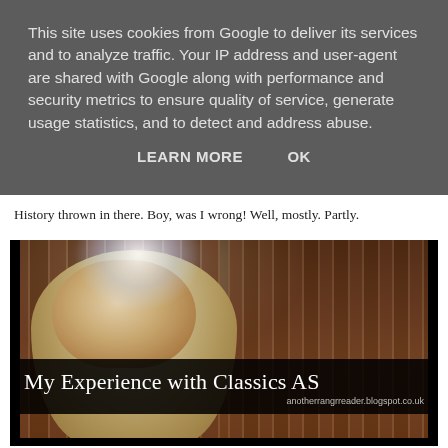This site uses cookies from Google to deliver its services and to analyze traffic. Your IP address and user-agent are shared with Google along with performance and security metrics to ensure quality of service, generate usage statistics, and to detect and address abuse.
LEARN MORE    OK
History thrown in there. Boy, was I wrong! Well, mostly. Partly.
[Figure (photo): A marble bust/statue of a bearded classical figure (possibly Zeus or another Greek deity) in front of a dark wooden bookcase filled with books. Overlaid text reads 'My Experience with Classics AS' with the URL 'anotherrangrreader.blogspot.co.uk' in the lower right corner.]